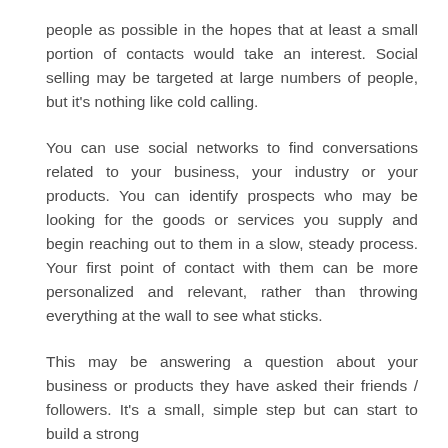people as possible in the hopes that at least a small portion of contacts would take an interest. Social selling may be targeted at large numbers of people, but it's nothing like cold calling.
You can use social networks to find conversations related to your business, your industry or your products. You can identify prospects who may be looking for the goods or services you supply and begin reaching out to them in a slow, steady process. Your first point of contact with them can be more personalized and relevant, rather than throwing everything at the wall to see what sticks.
This may be answering a question about your business or products they have asked their friends / followers. It's a small, simple step but can start to build a strong